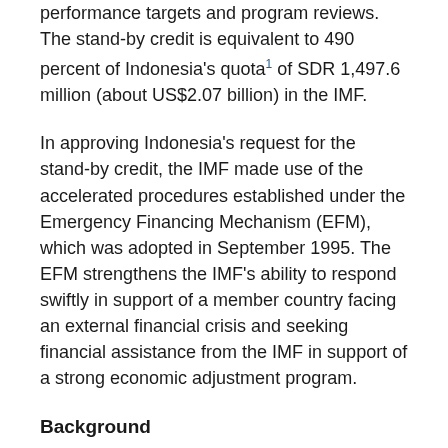performance targets and program reviews. The stand-by credit is equivalent to 490 percent of Indonesia's quota¹ of SDR 1,497.6 million (about US$2.07 billion) in the IMF.
In approving Indonesia's request for the stand-by credit, the IMF made use of the accelerated procedures established under the Emergency Financing Mechanism (EFM), which was adopted in September 1995. The EFM strengthens the IMF's ability to respond swiftly in support of a member country facing an external financial crisis and seeking financial assistance from the IMF in support of a strong economic adjustment program.
Background
Indonesia's economic performance over the past several decades has ranked among the best in the developing world, with real GDP growth averaging